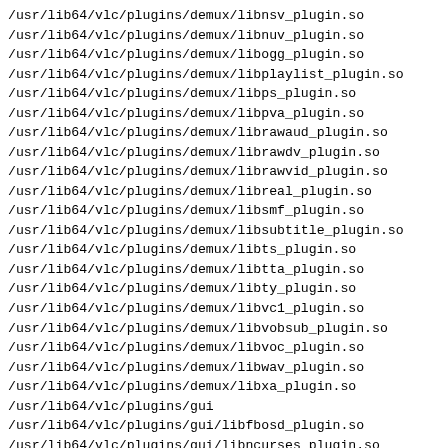/usr/lib64/vlc/plugins/demux/libnsv_plugin.so
/usr/lib64/vlc/plugins/demux/libnuv_plugin.so
/usr/lib64/vlc/plugins/demux/libogg_plugin.so
/usr/lib64/vlc/plugins/demux/libplaylist_plugin.so
/usr/lib64/vlc/plugins/demux/libps_plugin.so
/usr/lib64/vlc/plugins/demux/libpva_plugin.so
/usr/lib64/vlc/plugins/demux/librawaud_plugin.so
/usr/lib64/vlc/plugins/demux/librawdv_plugin.so
/usr/lib64/vlc/plugins/demux/librawvid_plugin.so
/usr/lib64/vlc/plugins/demux/libreal_plugin.so
/usr/lib64/vlc/plugins/demux/libsmf_plugin.so
/usr/lib64/vlc/plugins/demux/libsubtitle_plugin.so
/usr/lib64/vlc/plugins/demux/libts_plugin.so
/usr/lib64/vlc/plugins/demux/libtta_plugin.so
/usr/lib64/vlc/plugins/demux/libty_plugin.so
/usr/lib64/vlc/plugins/demux/libvc1_plugin.so
/usr/lib64/vlc/plugins/demux/libvobsub_plugin.so
/usr/lib64/vlc/plugins/demux/libvoc_plugin.so
/usr/lib64/vlc/plugins/demux/libwav_plugin.so
/usr/lib64/vlc/plugins/demux/libxa_plugin.so
/usr/lib64/vlc/plugins/gui
/usr/lib64/vlc/plugins/gui/libfbosd_plugin.so
/usr/lib64/vlc/plugins/gui/libncurses_plugin.so
/usr/lib64/vlc/plugins/gui/libqt4_plugin.so
/usr/lib64/vlc/plugins/gui/libskins2_plugin.so
/usr/lib64/vlc/plugins/lua
/usr/lib64/vlc/plugins/lua/liblua_plugin.so
/usr/lib64/vlc/plugins/meta_engine
/usr/lib64/vlc/plugins/meta_engine/libfolder_plugin.so
/usr/lib64/vlc/plugins/meta_engine/libtaglib_plugin.so